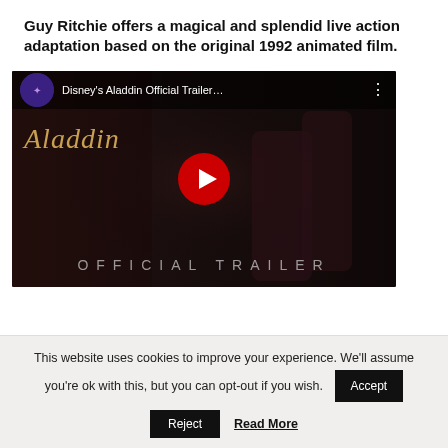Guy Ritchie offers a magical and splendid live action adaptation based on the original 1992 animated film.
[Figure (screenshot): YouTube video thumbnail for Disney's Aladdin Official Trailer with play button, Aladdin script title in gold, two characters visible, and 'OFFICIAL TRAILER' text at bottom]
This website uses cookies to improve your experience. We'll assume you're ok with this, but you can opt-out if you wish.